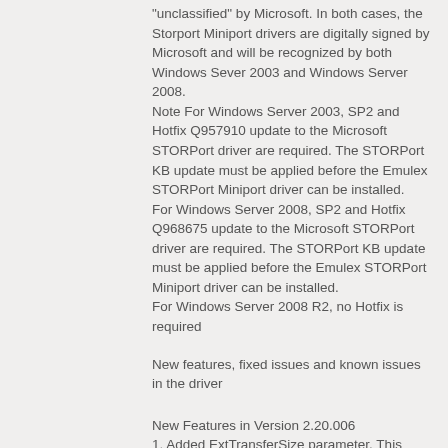"unclassified" by Microsoft. In both cases, the Storport Miniport drivers are digitally signed by Microsoft and will be recognized by both Windows Sever 2003 and Windows Server 2008. Note For Windows Server 2003, SP2 and Hotfix Q957910 update to the Microsoft STORPort driver are required. The STORPort KB update must be applied before the Emulex STORPort Miniport driver can be installed. For Windows Server 2008, SP2 and Hotfix Q968675 update to the Microsoft STORPort driver are required. The STORPort KB update must be applied before the Emulex STORPort Miniport driver can be installed. For Windows Server 2008 R2, no Hotfix is required
New features, fixed issues and known issues in the driver
New Features in Version 2.20.006
1. Added ExtTransferSize parameter. This parameter improves performance on tape devices supporting a larger